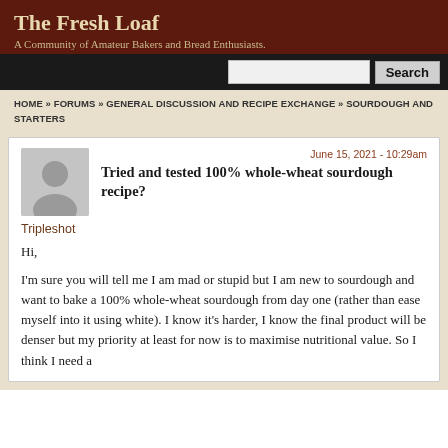The Fresh Loaf
A Community of Amateur Bakers and Bread Enthusiasts.
HOME » FORUMS » GENERAL DISCUSSION AND RECIPE EXCHANGE » SOURDOUGH AND STARTERS
June 15, 2021 - 10:29am
Tried and tested 100% whole-wheat sourdough recipe?
Tripleshot
Hi,
I'm sure you will tell me I am mad or stupid but I am new to sourdough and want to bake a 100% whole-wheat sourdough from day one (rather than ease myself into it using white). I know it's harder, I know the final product will be denser but my priority at least for now is to maximise nutritional value. So I think I need a